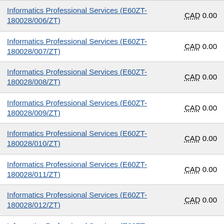| Contract/Award | Amount |
| --- | --- |
| Informatics Professional Services (E60ZT-180028/006/ZT) | CAD 0.00 |
| Informatics Professional Services (E60ZT-180028/007/ZT) | CAD 0.00 |
| Informatics Professional Services (E60ZT-180028/008/ZT) | CAD 0.00 |
| Informatics Professional Services (E60ZT-180028/009/ZT) | CAD 0.00 |
| Informatics Professional Services (E60ZT-180028/010/ZT) | CAD 0.00 |
| Informatics Professional Services (E60ZT-180028/011/ZT) | CAD 0.00 |
| Informatics Professional Services (E60ZT-180028/012/ZT) | CAD 0.00 |
| Informatics Professional Services (E60ZT-180028/013/ZT) | CAD 0.00 |
| Informatics Professional Services (E60ZT-180028/014/ZT) | CAD 0.00 |
| Informatics Professional Services (E60ZT-... | CAD 0.00 |